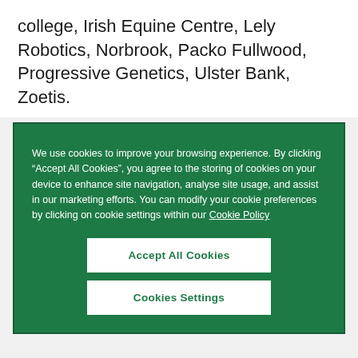college, Irish Equine Centre, Lely Robotics, Norbrook, Packo Fullwood, Progressive Genetics, Ulster Bank, Zoetis.
We use cookies to improve your browsing experience. By clicking “Accept All Cookies”, you agree to the storing of cookies on your device to enhance site navigation, analyse site usage, and assist in our marketing efforts. You can modify your cookie preferences by clicking on cookie settings within our Cookie Policy
Accept All Cookies
Cookies Settings